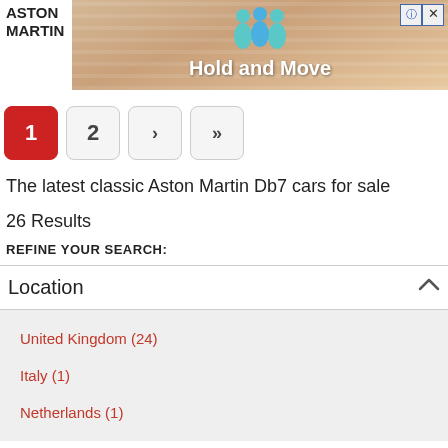[Figure (screenshot): Advertisement banner showing 'Hold and Move' with animated figures on a striped background. Includes help and close buttons in top right.]
ASTON MARTIN
1
2
>
>>
The latest classic Aston Martin Db7 cars for sale
26 Results
REFINE YOUR SEARCH:
Location
United Kingdom (24)
Italy (1)
Netherlands (1)